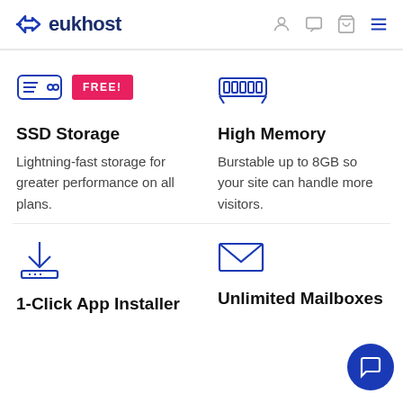eukhost
[Figure (illustration): SSD storage icon (outline router/server shape) and FREE! red badge]
SSD Storage
Lightning-fast storage for greater performance on all plans.
[Figure (illustration): RAM/memory module icon (outline)]
High Memory
Burstable up to 8GB so your site can handle more visitors.
[Figure (illustration): Download/install icon (outline arrow into tray)]
1-Click App Installer
[Figure (illustration): Envelope/mail icon (outline)]
Unlimited Mailboxes